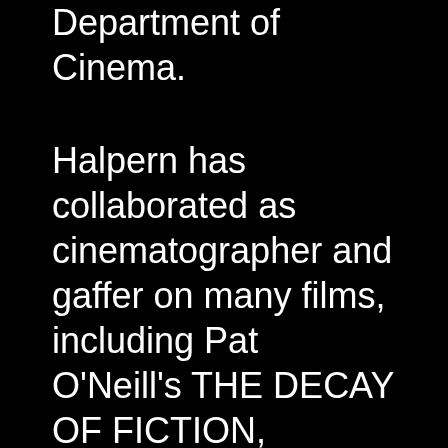Department of Cinema.
Halpern has collaborated as cinematographer and gaffer on many films, including Pat O'Neill's THE DECAY OF FICTION, Charles Burnett's MY BROTHER'S WEDDING, and David Lebrun's BREAKING THE MAYA CODE and OUT OF THE MAYA TOMBS.
Her work in multimedia includes collaboration in the 1970s with Ken and Flo Jacobs NEW YORK APPARITION THEATER, a 3D shadow play company,